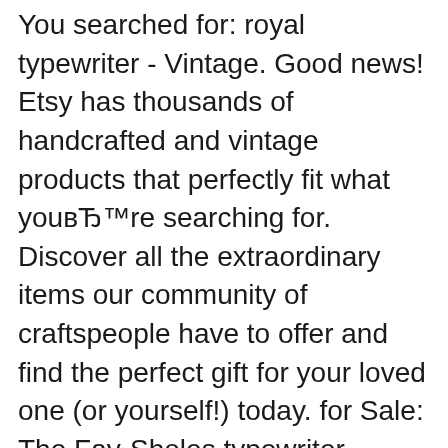You searched for: royal typewriter - Vintage. Good news! Etsy has thousands of handcrafted and vintage products that perfectly fit what youвЂ™re searching for. Discover all the extraordinary items our community of craftspeople have to offer and find the perfect gift for your loved one (or yourself!) today. for Sale: The Fay-Sholes typewriter shipping crate with a graphic label applied on two sides. Inside are what I believe are all the original shipping materials. A rare example of a virtual time capsule showing how this typewriter left the factory on its trip to its original owner. I've had this crate in my possession for thirty years and have